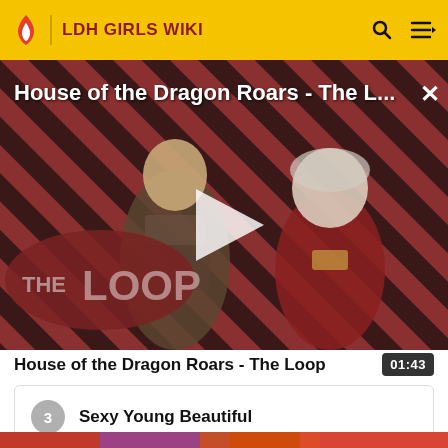LDH GIRLS WIKI
[Figure (screenshot): Video thumbnail for 'House of the Dragon Roars - The L...' showing two characters against a red diagonal striped background with 'THE LOOP' logo and a play button overlay. A close (X) button is in the top right.]
House of the Dragon Roars - The Loop
01:43
3  Sexy Young Beautiful
[Figure (photo): Partial bottom strip showing a colorful image thumbnail]